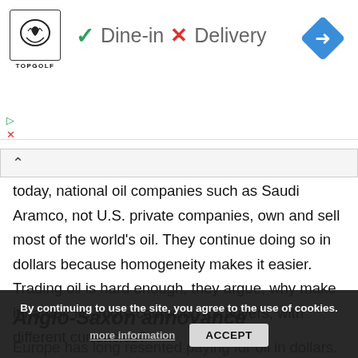[Figure (other): Topgolf advertisement banner showing logo, dine-in checkmark, delivery X mark, and navigation arrow icon]
today, national oil companies such as Saudi Aramco, not U.S. private companies, own and sell most of the world's oil. They continue doing so in dollars because homogeneity makes it easier. Trading oil is hard enough, they argue, why make it harder, i.e. more confusing for buyers, with different currencies?
Anglo-Saxon annoyance
Europe has long resented paying for oil in dollars. The issue came into sharp relief during the U.S. and UK-led invasion of Iraq in 2003. A conspiracy theory emerged that the invasion was prompted by Hussein's threat to
By continuing to use the site, you agree to the use of cookies.
more information   ACCEPT